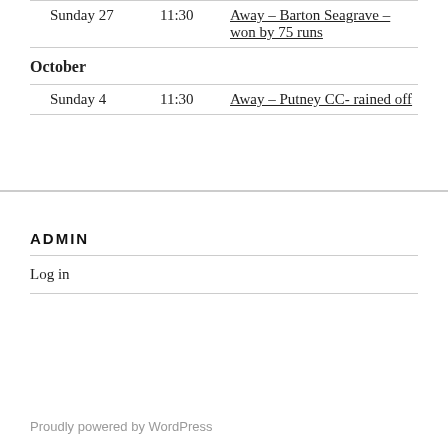Sunday 27  11:30  Away – Barton Seagrave – won by 75 runs
October
Sunday 4  11:30  Away – Putney CC- rained off
ADMIN
Log in
Proudly powered by WordPress